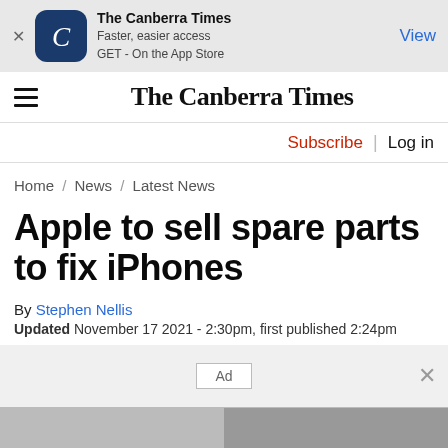[Figure (screenshot): App banner with Canberra Times logo icon (dark blue rounded square with stylized C), text 'The Canberra Times / Faster, easier access / GET - On the App Store', and a 'View' button on the right. X close button on the left.]
The Canberra Times
Subscribe | Log in
Home / News / Latest News
Apple to sell spare parts to fix iPhones
By Stephen Nellis
Updated November 17 2021 - 2:30pm, first published 2:24pm
[Figure (other): Ad placeholder box in grey banner area with X dismiss button on the right]
[Figure (photo): Partial bottom image strip in two tones of grey]